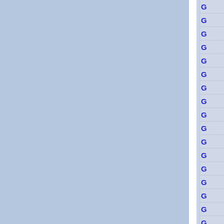[Figure (screenshot): A partial screenshot of a web interface or application showing two large blue-gray panels side by side (separated by a white vertical divider), and on the right edge a narrow column of cells each containing a blue 'G' letter icon, separated by horizontal lines. The background is light blue-gray.]